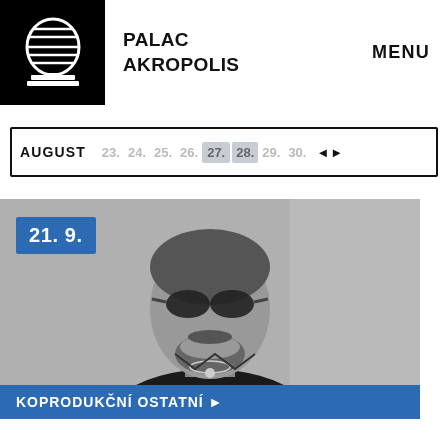[Figure (logo): Palac Akropolis logo: white stadium/dome icon on black background]
PALAC AKROPOLIS
MENU
AUGUST   23.  24.  25.  26.  27.  28.  29.  30.  ◄►
[Figure (photo): Black and white portrait photo of a bearded man wearing sunglasses and a black shirt with a necklace]
21. 9.
KOPRODUKČNÍ OSTATNÍ ►